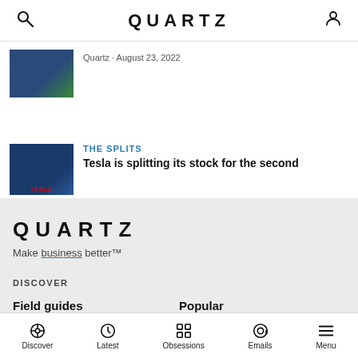QUARTZ
Quartz · August 23, 2022
THE SPLITS
Tesla is splitting its stock for the second
QUARTZ
Make business better™
DISCOVER
Field guides
Podcast
Popular
Featured
Discover  Latest  Obsessions  Emails  Menu